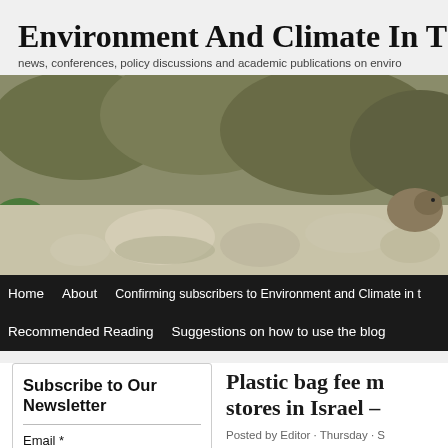Environment And Climate In The M
news, conferences, policy discussions and academic publications on enviro
[Figure (photo): Outdoor nature photograph showing rocky terrain with dry shrubs and vegetation; a small round mammal visible at the right side.]
Home   About   Confirming subscribers to Environment and Climate in t   Recommended Reading   Suggestions on how to use the blog
Subscribe to Our Newsletter
Email *
Plastic bag fee m stores in Israel –
Posted by Editor · Thursday · S